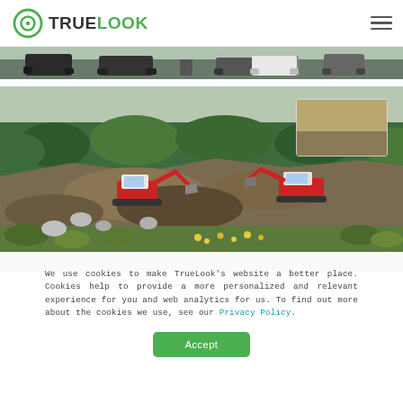TrueLook
[Figure (photo): Partial view of construction site vehicles/trucks from above, cropped strip]
[Figure (photo): Construction site with two large red excavators digging earth, surrounded by green vegetation and dirt mounds. Small inset thumbnail in upper right corner.]
We use cookies to make TrueLook’s website a better place. Cookies help to provide a more personalized and relevant experience for you and web analytics for us. To find out more about the cookies we use, see our Privacy Policy.